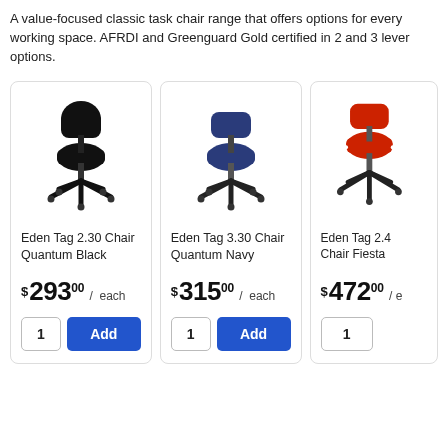A value-focused classic task chair range that offers options for every working space. AFRDI and Greenguard Gold certified in 2 and 3 lever options.
[Figure (photo): Eden Tag 2.30 Chair in Quantum Black — black task chair with padded seat and back, on a 5-star base with casters]
Eden Tag 2.30 Chair Quantum Black
$293.00 / each
[Figure (photo): Eden Tag 3.30 Chair in Quantum Navy — navy blue task chair with padded seat and back, on a 5-star base with casters]
Eden Tag 3.30 Chair Quantum Navy
$315.00 / each
[Figure (photo): Eden Tag 2.4x Chair Fiesta — red task chair partially visible, on a 5-star base]
Eden Tag 2.4x Chair Fiesta
$472.00 / each